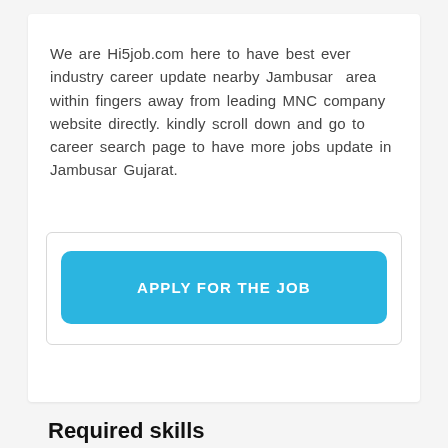We are Hi5job.com here to have best ever industry career update nearby Jambusar  area within fingers away from leading MNC company website directly. kindly scroll down and go to career search page to have more jobs update in Jambusar Gujarat.
[Figure (other): Blue rounded rectangle button labeled APPLY FOR THE JOB inside a white bordered box]
Required skills
12th Pass
Sales
Store Support